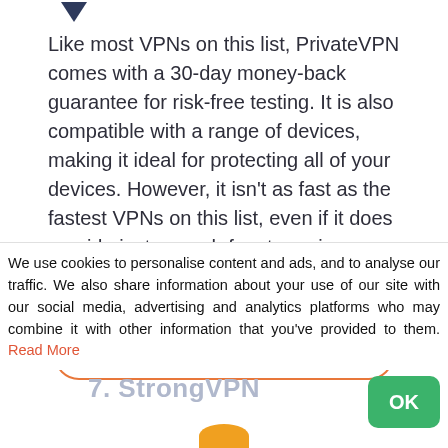[Figure (illustration): Dark blue downward-pointing arrow/chevron icon at top left]
Like most VPNs on this list, PrivateVPN comes with a 30-day money-back guarantee for risk-free testing. It is also compatible with a range of devices, making it ideal for protecting all of your devices. However, it isn't as fast as the fastest VPNs on this list, even if it does provide just enough for streaming.
Read PrivateVPN Review
We use cookies to personalise content and ads, and to analyse our traffic. We also share information about your use of our site with our social media, advertising and analytics platforms who may combine it with other information that you've provided to them. Read More
7. StrongVPN
OK